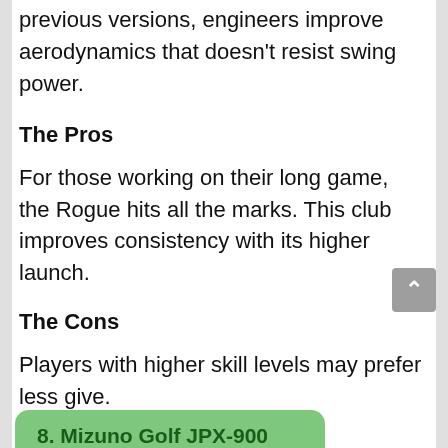previous versions, engineers improve aerodynamics that doesn't resist swing power.
The Pros
For those working on their long game, the Rogue hits all the marks. This club improves consistency with its higher launch.
The Cons
Players with higher skill levels may prefer less give.
8. Mizuno Golf JPX-900